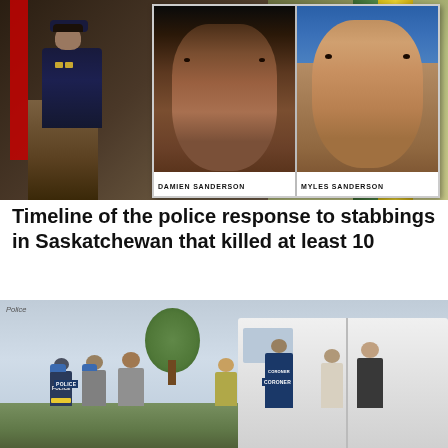[Figure (photo): Police officer at a podium presenting a board with mugshots of two suspects, Damien Sanderson and Myles Sanderson, with flags in the background.]
Timeline of the police response to stabbings in Saskatchewan that killed at least 10
[Figure (photo): Police and coroner personnel gathered near a white van at a crime scene outdoors.]